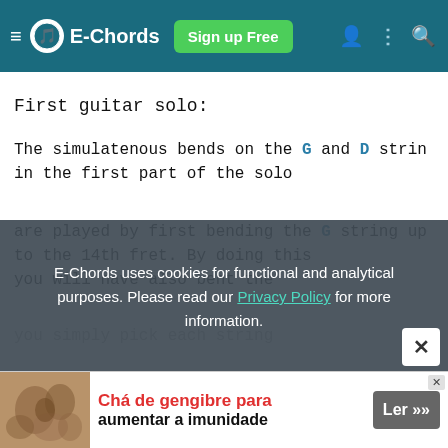E-Chords | Sign up Free
First guitar solo:
The simulatenous bends on the G and D string in the first part of the solo
are played by first bending the G string up to the 14th fret. By doing this you will have also bent the
you simply pick each string
E-Chords uses cookies for functional and analytical purposes. Please read our Privacy Policy for more information.
[Figure (other): Advertisement banner: Chá de gengibre para aumentar a imunidade, Ler button]